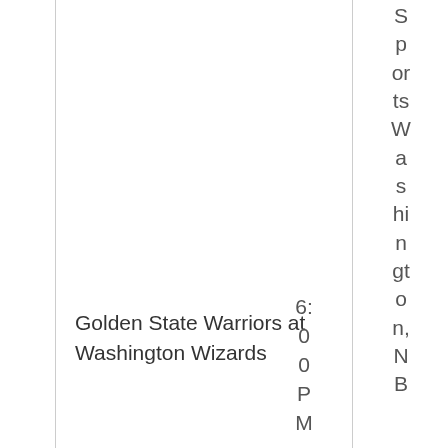Golden State Warriors at Washington Wizards
6:00 PM
Sports Washington, NBA